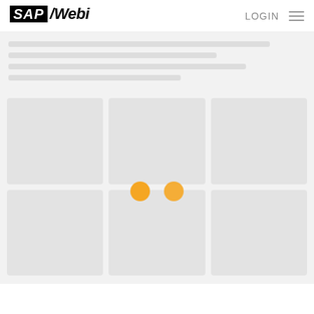[Figure (screenshot): SAP Webi web application loading screen. Top navigation bar with SAP Webi logo on the left, LOGIN text and hamburger menu icon on the right. Main content area has a light gray background with skeleton loading placeholders (horizontal bars) in the upper portion and a 3x2 grid of gray card placeholders below. Two orange loading dots are centered in the card grid area. Below the gray section is a white footer area.]